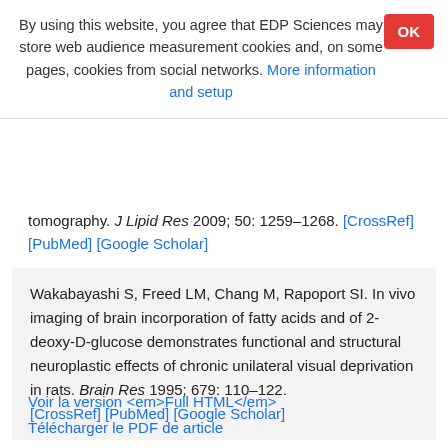By using this website, you agree that EDP Sciences may store web audience measurement cookies and, on some pages, cookies from social networks. More information and setup
tomography. J Lipid Res 2009; 50: 1259–1268. [CrossRef] [PubMed] [Google Scholar]
Wakabayashi S, Freed LM, Chang M, Rapoport SI. In vivo imaging of brain incorporation of fatty acids and of 2-deoxy-D-glucose demonstrates functional and structural neuroplastic effects of chronic unilateral visual deprivation in rats. Brain Res 1995; 679: 110–122. [CrossRef] [PubMed] [Google Scholar]
Voir la version <em>Full HTML</em>
Télécharger le PDF de article